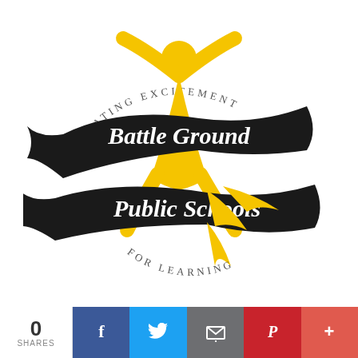[Figure (logo): Battle Ground Public Schools logo: a yellow figure with arms raised above stylized black ribbon banners reading 'Battle Ground' and 'Public Schools', with curved text 'CREATING EXCITEMENT' at top and 'FOR LEARNING' at bottom]
0 SHARES
[Figure (infographic): Social share buttons: Facebook (blue), Twitter (light blue), Email (grey), Pinterest (red), Plus/more (coral red)]